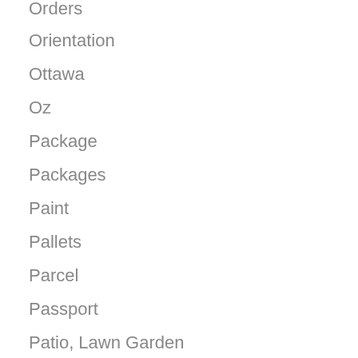Orders
Orientation
Ottawa
Oz
Package
Packages
Paint
Pallets
Parcel
Passport
Patio, Lawn Garden
Patties
Pay